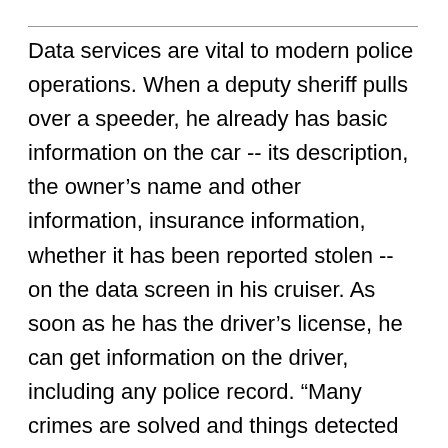Data services are vital to modern police operations. When a deputy sheriff pulls over a speeder, he already has basic information on the car -- its description, the owner’s name and other information, insurance information, whether it has been reported stolen -- on the data screen in his cruiser. As soon as he has the driver’s license, he can get information on the driver, including any police record. “Many crimes are solved and things detected at vehicle stops,” Magruder says. “You can never be sure who is in the car, or what might happen.” Officers have found themselves in unexpectedly dangerous confrontations at vehicle stops, so